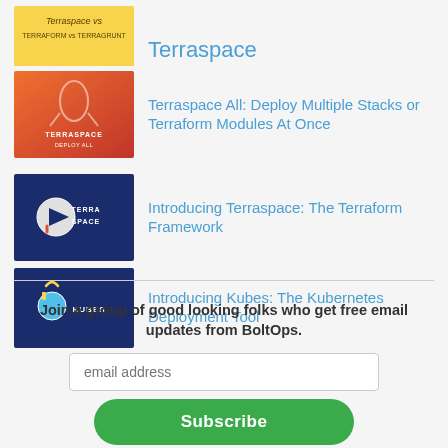Terraspace
Terraspace All: Deploy Multiple Stacks or Terraform Modules At Once
Introducing Terraspace: The Terraform Framework
Introducing Kubes: The Kubernetes Deployment Tool
Join a group of good looking folks who get free email updates from BoltOps.